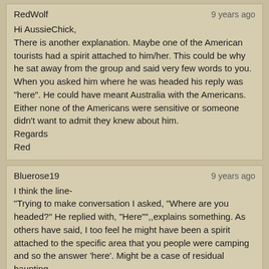RedWolf | 9 years ago
Hi AussieChick,
There is another explanation. Maybe one of the American tourists had a spirit attached to him/her. This could be why he sat away from the group and said very few words to you. When you asked him where he was headed his reply was "here". He could have meant Australia with the Americans. Either none of the Americans were sensitive or someone didn't want to admit they knew about him.
Regards
Red
Bluerose19 | 9 years ago
I think the line-
"Trying to make conversation I asked, "Where are you headed?" He replied with, "Here"",,explains something. As others have said, I too feel he might have been a spirit attached to the specific area that you people were camping and so the answer 'here'. Might be a case of residual haunting.
Take care,

Bluerose19